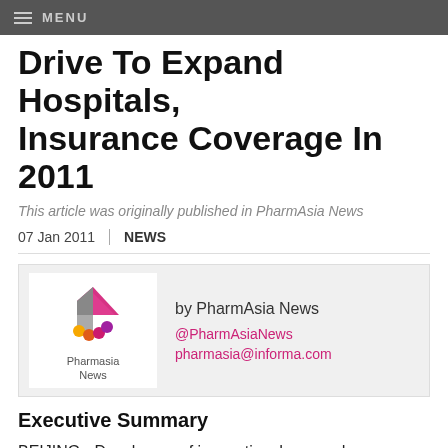MENU
Drive To Expand Hospitals, Insurance Coverage In 2011
This article was originally published in PharmAsia News
07 Jan 2011 | NEWS
[Figure (logo): PharmAsia News logo with colorful 3D arrow shape and text 'Pharmasia News']
by PharmAsia News
@PharmAsiaNews
pharmasia@informa.com
Executive Summary
BEIJING - Developers of innovative drugs and biopharmaceuticals, along with medical device makers, could all benefit as China's government